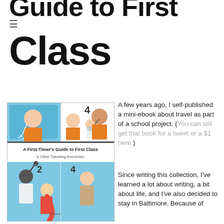Guide to First Class
[Figure (illustration): Book cover illustration for 'A First-Timer's Guide to First Class & Other Traveling Anecdotes' by Michelle Junot, showing cartoon panels of airplane passengers.]
A few years ago, I self-published a mini-ebook about travel as part of a school project. (You can still get that book for a tweet or a $1 here.)
Since writing this collection, I've learned a lot about writing, a bit about life, and I've also decided to stay in Baltimore. Because of